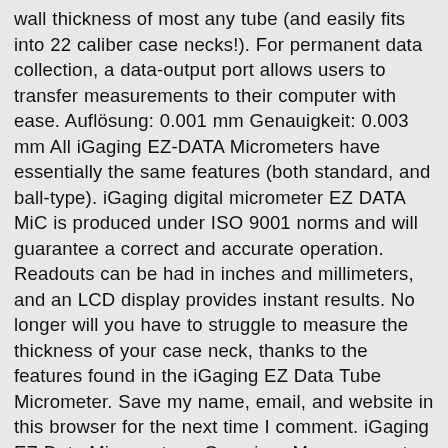wall thickness of most any tube (and easily fits into 22 caliber case necks!). For permanent data collection, a data-output port allows users to transfer measurements to their computer with ease. Auflösung: 0.001 mm Genauigkeit: 0.003 mm All iGaging EZ-DATA Micrometers have essentially the same features (both standard, and ball-type). iGaging digital micrometer EZ DATA MiC is produced under ISO 9001 norms and will guarantee a correct and accurate operation. Readouts can be had in inches and millimeters, and an LCD display provides instant results. No longer will you have to struggle to measure the thickness of your case neck, thanks to the features found in the iGaging EZ Data Tube Micrometer. Save my name, email, and website in this browser for the next time I comment. iGaging EZ Data Micrometers: Overview, Measurement, Data Logging, How-To: Align Z-Axis Power Feed Install for Precision Matthews PM-949TV Mill, Hands-On: NEW Precision Matthews PM-728VT Precision Bench Mill, ULTIMATE 6 Dasher PRS Rifle Build Start To Finish, Precision Matthews PM-949TV Milling Machine: Overview and Tour, Building